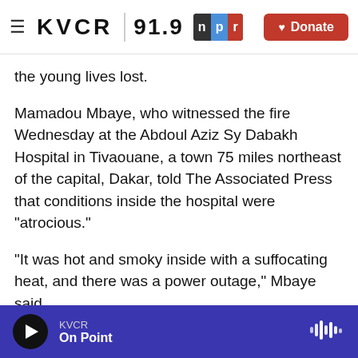KVCR 91.9 npr | Donate
the young lives lost.
Mamadou Mbaye, who witnessed the fire Wednesday at the Abdoul Aziz Sy Dabakh Hospital in Tivaouane, a town 75 miles northeast of the capital, Dakar, told The Associated Press that conditions inside the hospital were "atrocious."
"It was hot and smoky inside with a suffocating heat, and there was a power outage," Mbaye said.
Grieving parents were still in shock.
"I baptized my child on Wednesday and he was
KVCR | On Point